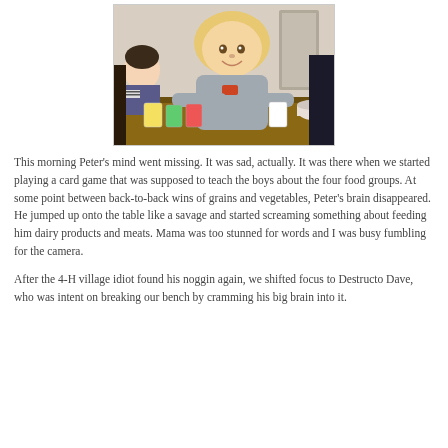[Figure (photo): A smiling blonde boy leaning over a table with game cards on it, another child visible in the background on the left.]
This morning Peter's mind went missing. It was sad, actually. It was there when we started playing a card game that was supposed to teach the boys about the four food groups. At some point between back-to-back wins of grains and vegetables, Peter's brain disappeared. He jumped up onto the table like a savage and started screaming something about feeding him dairy products and meats. Mama was too stunned for words and I was busy fumbling for the camera.
After the 4-H village idiot found his noggin again, we shifted focus to Destructo Dave, who was intent on breaking our bench by cramming his big brain into it.